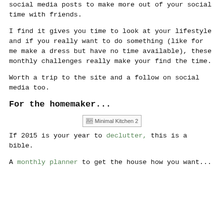social media posts to make more out of your social time with friends.
I find it gives you time to look at your lifestyle and if you really want to do something (like for me make a dress but have no time available), these monthly challenges really make your find the time.
Worth a trip to the site and a follow on social media too.
For the homemaker...
[Figure (photo): Minimal Kitchen 2 - placeholder image]
If 2015 is your year to declutter, this is a bible.
A monthly planner to get the house how you want...